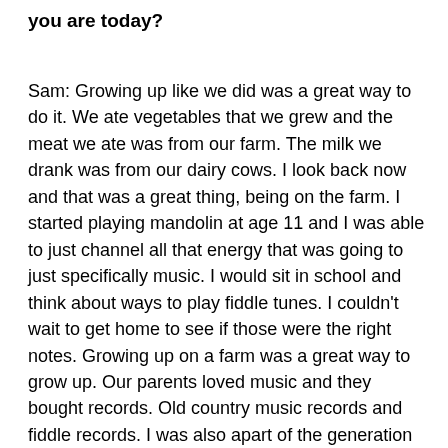you are today?
Sam: Growing up like we did was a great way to do it. We ate vegetables that we grew and the meat we ate was from our farm. The milk we drank was from our dairy cows. I look back now and that was a great thing, being on the farm. I started playing mandolin at age 11 and I was able to just channel all that energy that was going to just specifically music. I would sit in school and think about ways to play fiddle tunes. I couldn't wait to get home to see if those were the right notes. Growing up on a farm was a great way to grow up. Our parents loved music and they bought records. Old country music records and fiddle records. I was also apart of the generation where the Beatles came on the Ed Sullivan show and I saw all of those performances. It was just a great time being the kid in the 60's to hear music. Country music was coming out of